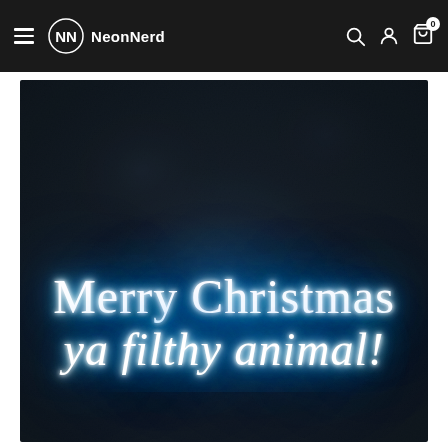NeonNerd — navigation bar with hamburger menu, logo, brand name, search, account and cart icons
[Figure (photo): A neon sign reading 'Merry Christmas ya filthy animal!' in glowing blue cursive script, mounted on a dark textured dark-grey leather-look background wall.]